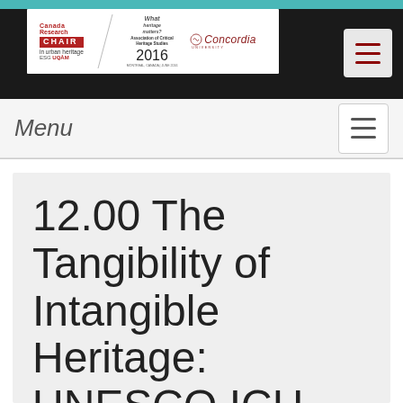[Figure (logo): Website header with Canada Research Chair in urban heritage ESG UQAM logo, What Heritage Matters? Association of Critical Heritage Studies 2016 Montreal conference logo, and Concordia University logo on dark background]
Menu
12.00  The Tangibility of Intangible Heritage: UNESCO ICH and Material Culture in India